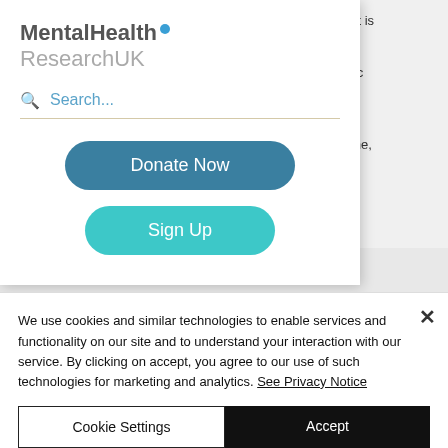[Figure (screenshot): MentalHealth ResearchUK website navigation overlay showing logo, search bar, Donate Now button, and Sign Up button over a page background with partial text and Final Report 2022 heading]
We use cookies and similar technologies to enable services and functionality on our site and to understand your interaction with our service. By clicking on accept, you agree to our use of such technologies for marketing and analytics. See Privacy Notice
Cookie Settings
Accept